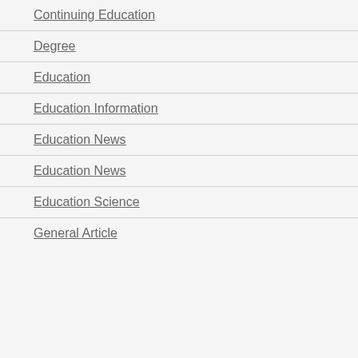Continuing Education
Degree
Education
Education Information
Education News
Education News
Education Science
General Article